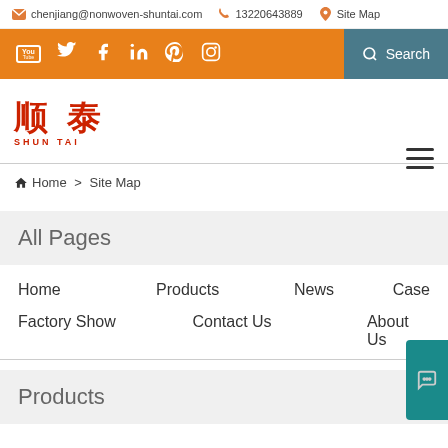chenjiang@nonwoven-shuntai.com  13220643889  Site Map
[Figure (screenshot): Orange social media bar with YouTube, Twitter, Facebook, LinkedIn, Pinterest, Instagram icons and a grey Search button]
[Figure (logo): Shun Tai logo with Chinese characters 顺泰 in red and SHUN TAI text below]
Home > Site Map
All Pages
Home
Products
News
Case
Factory Show
Contact Us
About Us
Products